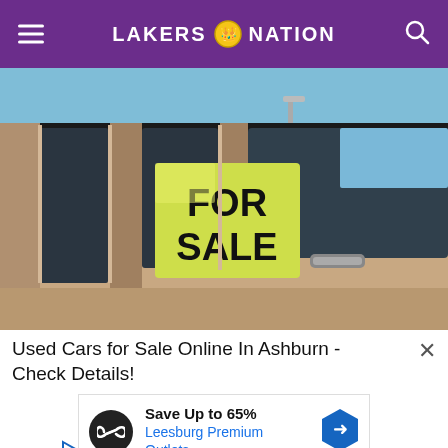LAKERS NATION
[Figure (photo): Close-up of a car window with a yellow-green 'FOR SALE' sign. The car is tan/beige colored, blue sky visible in background.]
Used Cars for Sale Online In Ashburn - Check Details!
[Figure (infographic): Advertisement banner: Save Up to 65% - Leesburg Premium Outlets, with circular logo and blue hexagon arrow icon.]